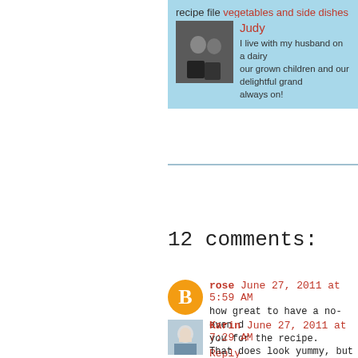recipe file vegetables and side dishes
[Figure (photo): Author photo showing couple in black clothing]
Judy
I live with my husband on a dairy... our grown children and our delightful grand... always on!
12 comments:
[Figure (logo): Blogger orange circle avatar icon]
rose June 27, 2011 at 5:59 AM
how great to have a no-oven d... you for the recipe.
Reply
[Figure (photo): Karin profile photo, woman with glasses]
Karin June 27, 2011 at 7:29 AM
That does look yummy, but very...
Reply